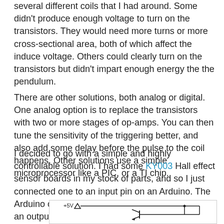several different coils that I had around. Some didn't produce enough voltage to turn on the transistors. They would need more turns or more cross-sectional area, both of which affect the induce voltage. Others could clearly turn on the transistors but didn't impart enough energy the the pendulum.
There are other solutions, both analog or digital. One analog option is to replace the transistors with two or more stages of op-amps. You can then tune the sensitivity of the triggering better, and also add some delay before the pulse to the coil happens. Other solutions use a simple microprocessor like a PIC, or a TI chip.
I decided to go with a simple and highly controllable solution. I had some KY003 Hall effect sensor boards in my stock of parts, and so I just connected one to an input pin on an Arduino. The Arduino can't drive the coil directly, so I hooked up an output pin to a transistor, like this:
[Figure (schematic): Partial circuit schematic showing +5V power supply symbol connected to a transistor circuit with a component (likely coil/inductor) visible at top right.]